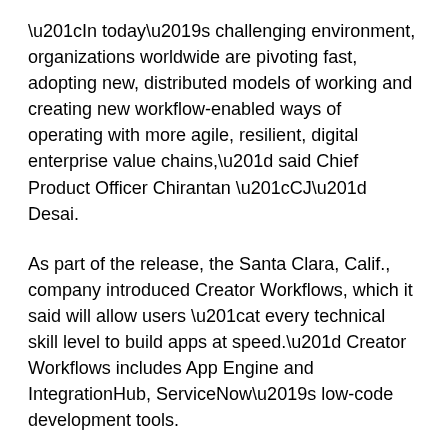“In today’s challenging environment, organizations worldwide are pivoting fast, adopting new, distributed models of working and creating new workflow-enabled ways of operating with more agile, resilient, digital enterprise value chains,” said Chief Product Officer Chirantan “CJ” Desai.
As part of the release, the Santa Clara, Calif., company introduced Creator Workflows, which it said will allow users “at every technical skill level to build apps at speed.” Creator Workflows includes App Engine and IntegrationHub, ServiceNow’s low-code development tools.
The release also included App Engine Studio, which offers a guided low-code visual